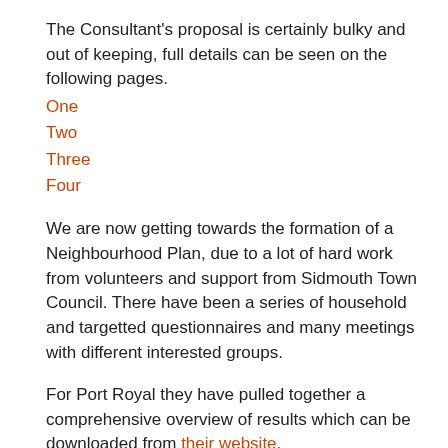The Consultant's proposal is certainly bulky and out of keeping, full details can be seen on the following pages.
One
Two
Three
Four
We are now getting towards the formation of a Neighbourhood Plan, due to a lot of hard work from volunteers and support from Sidmouth Town Council. There have been a series of household and targetted questionnaires and many meetings with different interested groups.
For Port Royal they have pulled together a comprehensive overview of results which can be downloaded from their website.
This is the way...